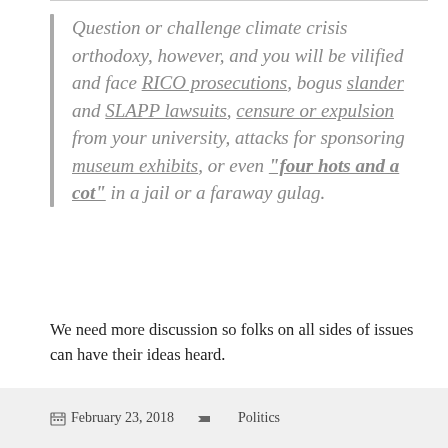Question or challenge climate crisis orthodoxy, however, and you will be vilified and face RICO prosecutions, bogus slander and SLAPP lawsuits, censure or expulsion from your university, attacks for sponsoring museum exhibits, or even "four hots and a cot" in a jail or a faraway gulag.
We need more discussion so folks on all sides of issues can have their ideas heard.
February 23, 2018   Politics